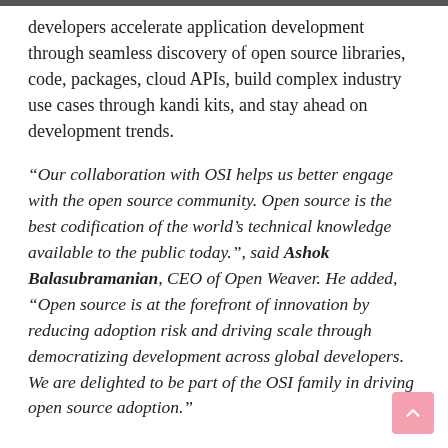developers accelerate application development through seamless discovery of open source libraries, code, packages, cloud APIs, build complex industry use cases through kandi kits, and stay ahead on development trends.
“Our collaboration with OSI helps us better engage with the open source community. Open source is the best codification of the world’s technical knowledge available to the public today.”, said Ashok Balasubramanian, CEO of Open Weaver. He added, “Open source is at the forefront of innovation by reducing adoption risk and driving scale through democratizing development across global developers. We are delighted to be part of the OSI family in driving open source adoption.”